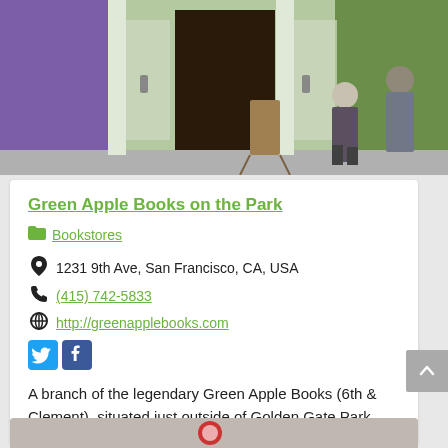[Figure (photo): Exterior photo of a bookstore entrance with green facade, people standing outside on the sidewalk]
Green Apple Books on the Park
Bookstores
1231 9th Ave, San Francisco, CA, USA
(415) 742-5833
http://greenapplebooks.com
A branch of the legendary Green Apple Books (6th & Clement), situated just outside of Golden Gate Park.
[Figure (photo): Partial view of another listing photo at the bottom of the page]